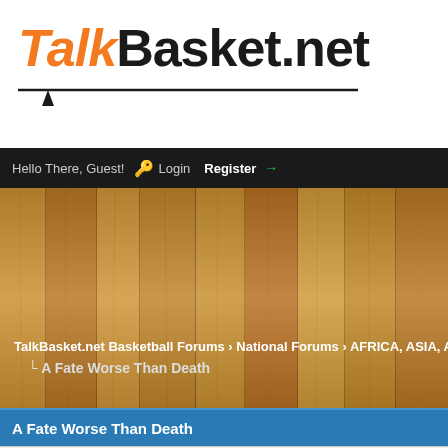[Figure (logo): TalkBasket.net logo with orange italic Talk and black Basket.net, with speech bubble underline]
Hello There, Guest! Login Register
[Figure (photo): Basketball court wood floor texture background]
TalkBasket.net Basketball Forums › National Forums › AFRICA, ASIA, AUSTR...
A Fate Worse Than Death
A Fate Worse Than Death
07-26-2012, 03:06 AM